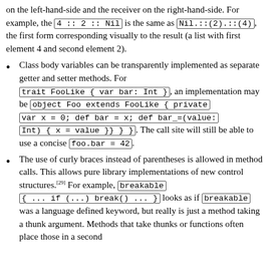on the left-hand-side and the receiver on the right-hand-side. For example, the 4 :: 2 :: Nil is the same as Nil.::(2).::(4), the first form corresponding visually to the result (a list with first element 4 and second element 2).
Class body variables can be transparently implemented as separate getter and setter methods. For trait FooLike { var bar: Int }, an implementation may be object Foo extends FooLike { private var x = 0; def bar = x; def bar_=(value: Int) { x = value }} } }. The call site will still be able to use a concise foo.bar = 42.
The use of curly braces instead of parentheses is allowed in method calls. This allows pure library implementations of new control structures.[29] For example, breakable { ... if (...) break() ... } looks as if breakable was a language defined keyword, but really is just a method taking a thunk argument. Methods that take thunks or functions often place those in a second...